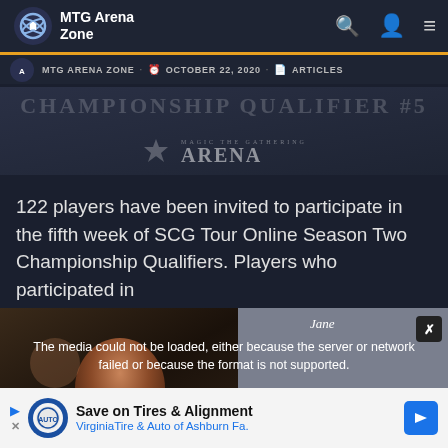MTG Arena Zone
MTG ARENA ZONE · OCTOBER 22, 2020 · ARTICLES
[Figure (screenshot): MTG Arena banner with Magic The Gathering Arena logo on dark background]
122 players have been invited to participate in the fifth week of SCG Tour Online Season Two Championship Qualifiers. Players who participated in
[Figure (screenshot): Video player showing error: The media could not be loaded, either because the server or network failed or because the format is not supported. Overlays a photo of a woman. Label 'Jane' visible. Close button visible.]
Save on Tires & Alignment
VirginiaTire & Auto of Ashburn Fa.